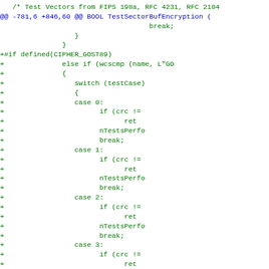[Figure (screenshot): Source code diff view showing C++ code additions for CIPHER_GOST89 block cipher test cases, with green text on white background. Includes diff header line in blue and added lines with '+' prefix in green.]